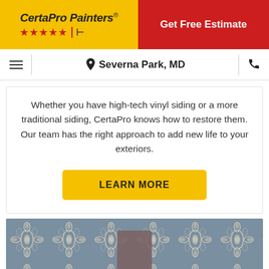[Figure (logo): CertaPro Painters logo on yellow background with red stars]
Get Free Estimate
Severna Park, MD
Whether you have high-tech vinyl siding or a more traditional siding, CertaPro knows how to restore them. Our team has the right approach to add new life to your exteriors.
LEARN MORE
[Figure (photo): Interior room photo showing blue-gray damask wallpaper with cream floral pattern, a lamp with gray shade, and an upholstered headboard]